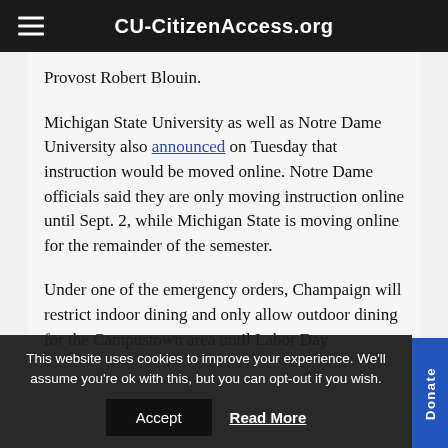CU-CitizenAccess.org
Provost Robert Blouin.
Michigan State University as well as Notre Dame University also announced on Tuesday that instruction would be moved online. Notre Dame officials said they are only moving instruction online until Sept. 2, while Michigan State is moving online for the remainder of the semester.
Under one of the emergency orders, Champaign will restrict indoor dining and only allow outdoor dining for the Campustown area until Labor Day.
This website uses cookies to improve your experience. We'll assume you're ok with this, but you can opt-out if you wish.